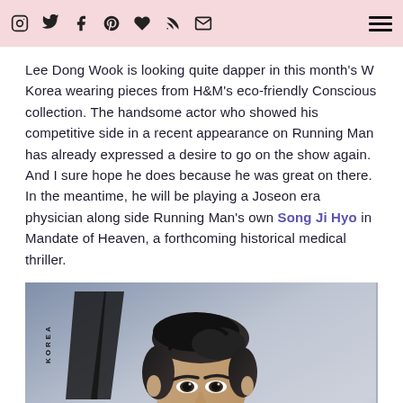Social media icons: Instagram, Twitter, Facebook, Pinterest, Bloglovin, RSS, Email | Hamburger menu
Lee Dong Wook is looking quite dapper in this month's W Korea wearing pieces from H&M's eco-friendly Conscious collection. The handsome actor who showed his competitive side in a recent appearance on Running Man has already expressed a desire to go on the show again. And I sure hope he does because he was great on there. In the meantime, he will be playing a Joseon era physician along side Running Man's own Song Ji Hyo in Mandate of Heaven, a forthcoming historical medical thriller.
[Figure (photo): W Korea magazine cover showing Lee Dong Wook, a Korean actor with dark styled hair wearing a light blue jacket with a patterned collar, photographed from the waist up against a grey background. The W Korea logo is visible in the top left.]